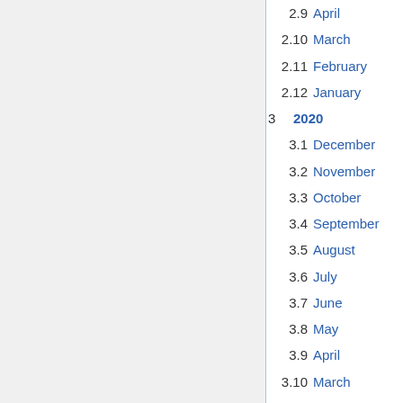2.9  April
2.10  March
2.11  February
2.12  January
3  2020
3.1  December
3.2  November
3.3  October
3.4  September
3.5  August
3.6  July
3.7  June
3.8  May
3.9  April
3.10  March
3.11  February
3.12  January